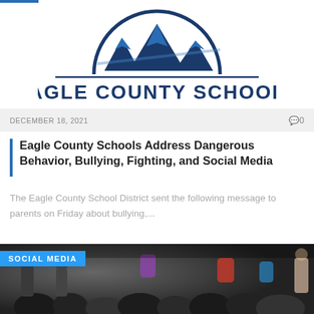[Figure (logo): Eagle County Schools logo with mountain peaks inside a circle arc, text EAGLE COUNTY SCHOOLS below in dark navy blue]
DECEMBER 18, 2021   0
Eagle County Schools Address Dangerous Behavior, Bullying, Fighting, and Social Media
The Eagle County School District sent the following message to parents on Friday about bullying,...
[Figure (photo): Photo of students gathered outdoors, crowd scene with backpacks visible. SOCIAL MEDIA badge overlay in blue top-left.]